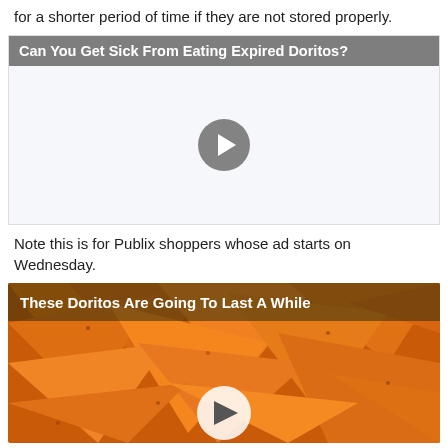for a shorter period of time if they are not stored properly.
[Figure (screenshot): Embedded video player with gray background and play button. Title bar reads: Can You Get Sick From Eating Expired Doritos?]
Note this is for Publix shoppers whose ad starts on Wednesday.
[Figure (screenshot): Embedded video thumbnail showing Doritos chips with title 'These Doritos Are Going To Last A While' and a play button overlay.]